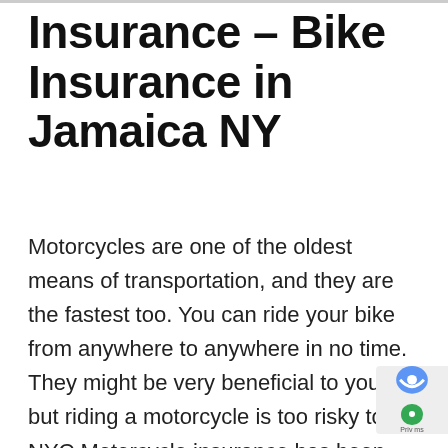Insurance – Bike Insurance in Jamaica NY
Motorcycles are one of the oldest means of transportation, and they are the fastest too. You can ride your bike from anywhere to anywhere in no time. They might be very beneficial to you, but riding a motorcycle is too risky too. NYC Motorcycle insurance has been made mandatory by the government of the New York State since accidents, which involve motorcycles, occur more frequently when compared to any other kinds of vehicles. The drivers need to get motorcycle